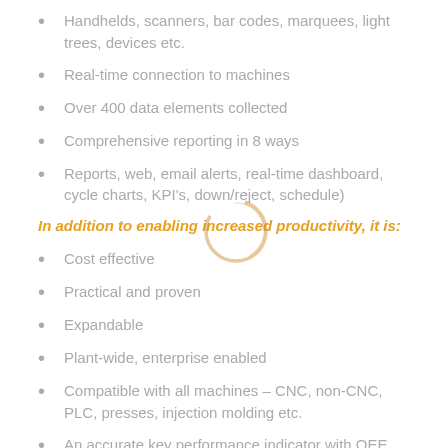Handhelds, scanners, bar codes, marquees, light trees, devices etc.
Real-time connection to machines
Over 400 data elements collected
Comprehensive reporting in 8 ways
Reports, web, email alerts, real-time dashboard, cycle charts, KPI's, down/reject, schedule)
In addition to enabling increased productivity, it is:
Cost effective
Practical and proven
Expandable
Plant-wide, enterprise enabled
Compatible with all machines – CNC, non-CNC, PLC, presses, injection molding etc.
An accurate key performance indicator with OEE metric